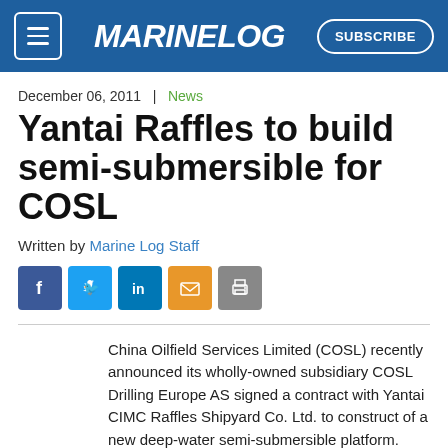MARINE LOG | SUBSCRIBE
December 06, 2011  |  News
Yantai Raffles to build semi-submersible for COSL
Written by Marine Log Staff
[Figure (other): Social share icons: Facebook, Twitter, LinkedIn, Email, Print]
China Oilfield Services Limited (COSL) recently announced its wholly-owned subsidiary COSL Drilling Europe AS signed a contract with Yantai CIMC Raffles Shipyard Co. Ltd. to construct of a new deep-water semi-submersible platform. Called the